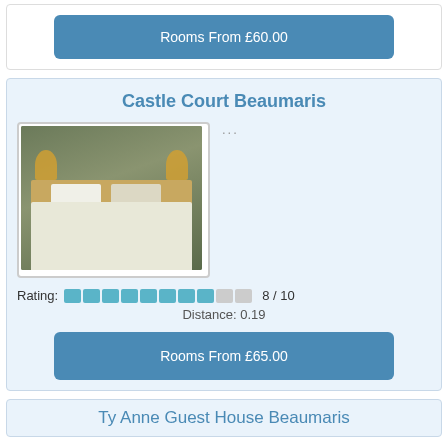Rooms From £60.00
Castle Court Beaumaris
[Figure (photo): Hotel room photo showing a bed with white linens, wooden headboard, side lamps, and a painting on the wall]
...
Rating: 8 / 10
Distance: 0.19
Rooms From £65.00
Ty Anne Guest House Beaumaris